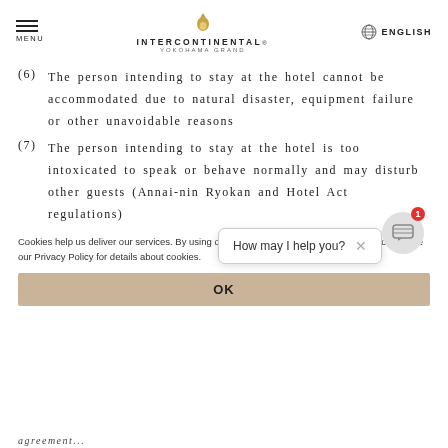MENU | INTERCONTINENTAL YOKOHAMA GRAND | ENGLISH
(6) The person intending to stay at the hotel cannot be accommodated due to natural disaster, equipment failure or other unavoidable reasons
(7) The person intending to stay at the hotel is too intoxicated to speak or behave normally and may disturb other guests (Annai-nin Ryokan and Hotel Act regulations)
Cookies help us deliver our services. By using our services, you agree to our use of cookies.See our Privacy Policy for details about cookies.
OK